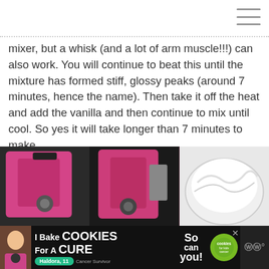[Figure (other): Hamburger menu icon (three horizontal lines) in top-right corner]
mixer, but a whisk (and a lot of arm muscle!!!) can also work. You will continue to beat this until the mixture has formed stiff, glossy peaks (around 7 minutes, hence the name). Then take it off the heat and add the vanilla and then continue to mix until cool. So yes it will take longer than 7 minutes to make.
[Figure (photo): Three side-by-side photos showing a pink/magenta KitchenAid stand mixer being used, and a mixing bowl with white frosting/meringue]
[Figure (other): Advertisement banner: 'I Bake COOKIES For A CURE' with photo of child Haldora, 11 Cancer Survivor, 'So can you!' text, cookies for kids cancer logo, and close button]